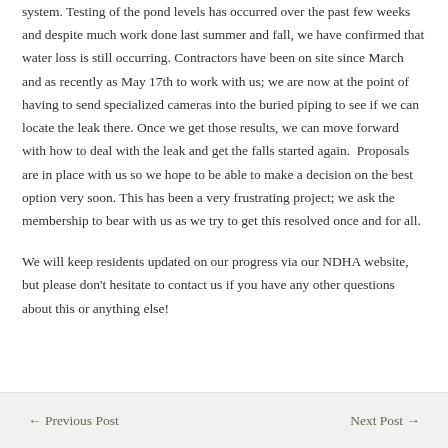system. Testing of the pond levels has occurred over the past few weeks and despite much work done last summer and fall, we have confirmed that water loss is still occurring. Contractors have been on site since March and as recently as May 17th to work with us; we are now at the point of having to send specialized cameras into the buried piping to see if we can locate the leak there. Once we get those results, we can move forward with how to deal with the leak and get the falls started again.  Proposals are in place with us so we hope to be able to make a decision on the best option very soon. This has been a very frustrating project; we ask the membership to bear with us as we try to get this resolved once and for all.
We will keep residents updated on our progress via our NDHA website, but please don't hesitate to contact us if you have any other questions about this or anything else!
← Previous Post    Next Post →